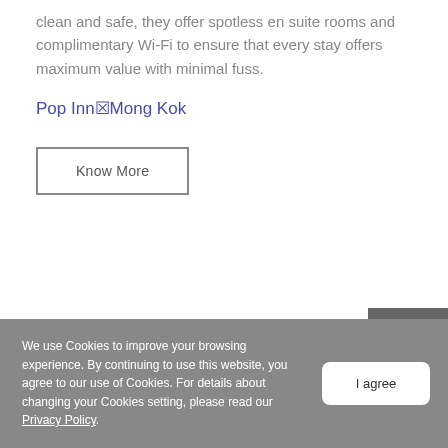clean and safe, they offer spotless en suite rooms and complimentary Wi-Fi to ensure that every stay offers maximum value with minimal fuss.
Pop Inn☒Mong Kok
Know More
Gather with other like-minders at Commune where y
We use Cookies to improve your browsing experience. By continuing to use this website, you agree to our use of Cookies. For details about changing your Cookies setting, please read our Privacy Policy.
I agree